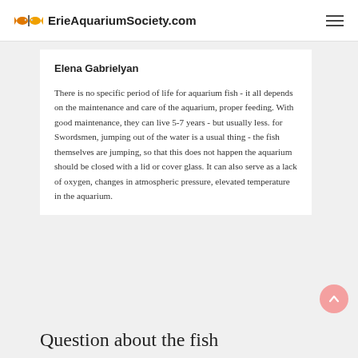ErieAquariumSociety.com
Elena Gabrielyan
There is no specific period of life for aquarium fish - it all depends on the maintenance and care of the aquarium, proper feeding. With good maintenance, they can live 5-7 years - but usually less. for Swordsmen, jumping out of the water is a usual thing - the fish themselves are jumping, so that this does not happen the aquarium should be closed with a lid or cover glass. It can also serve as a lack of oxygen, changes in atmospheric pressure, elevated temperature in the aquarium.
Question about the fish